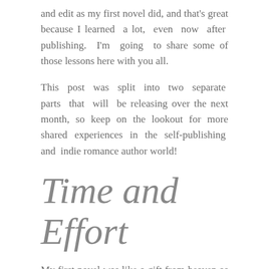and edit as my first novel did, and that's great because I learned a lot, even now after publishing. I'm going to share some of those lessons here with you all.
This post was split into two separate parts that will be releasing over the next month, so keep on the lookout for more shared experiences in the self-publishing and indie romance author world!
Time and Effort
My first novel was like a gift from heaven as it only took me two weeks to write and eight months of editing. I believe No Expectations is a great first novel for me, and I do feel that I poured my heart and soul into it before publishing. My second novel, Escape, did not come out as